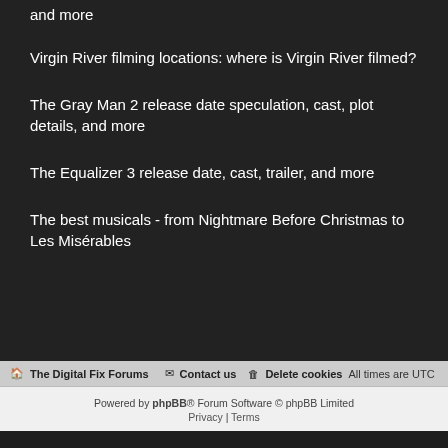and more
Virgin River filming locations: where is Virgin River filmed?
The Gray Man 2 release date speculation, cast, plot details, and more
The Equalizer 3 release date, cast, trailer, and more
The best musicals - from Nightmare Before Christmas to Les Misérables
The Digital Fix Forums  Contact us  Delete cookies  All times are UTC
Powered by phpBB® Forum Software © phpBB Limited  Privacy | Terms